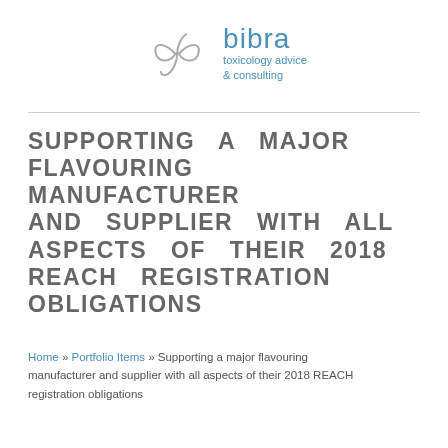[Figure (logo): Bibra toxicology advice & consulting logo with a stylized bow-tie/figure graphic in grey and the brand name and tagline in blue]
SUPPORTING A MAJOR FLAVOURING MANUFACTURER AND SUPPLIER WITH ALL ASPECTS OF THEIR 2018 REACH REGISTRATION OBLIGATIONS
Home » Portfolio Items » Supporting a major flavouring manufacturer and supplier with all aspects of their 2018 REACH registration obligations